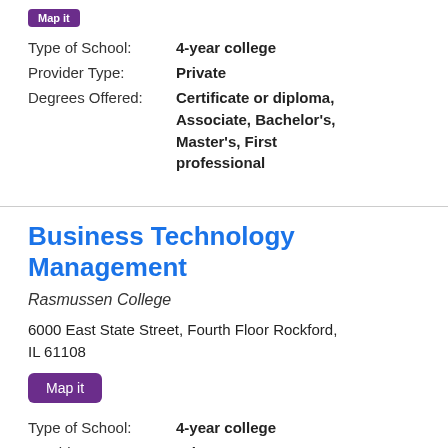[purple tag/button - partially visible at top]
Type of School: 4-year college
Provider Type: Private
Degrees Offered: Certificate or diploma, Associate, Bachelor's, Master's, First professional
Business Technology Management
Rasmussen College
6000 East State Street, Fourth Floor Rockford, IL 61108
Map it
Type of School: 4-year college
Provider Type: Private
Degrees Offered: Certificate or diploma,